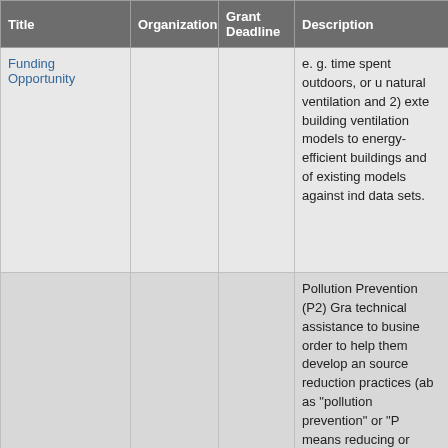| Title | Organization | Grant Deadline | Description |
| --- | --- | --- | --- |
| Funding Opportunity |  |  | e. g. time spent outdoors, or u natural ventilation and 2) exte building ventilation models to energy-efficient buildings and of existing models against ind data sets. |
| EPA Pollution Prevention Grant Program | EPA |  | Pollution Prevention (P2) Gra technical assistance to busine order to help them develop an source reduction practices (ab as "pollution prevention" or "P means reducing or eliminating from entering any waste strea otherwise released into the environment prior to recycling or disposal. In keeping with th Prevention Act of 1990, EPA i encouraging P2 because imp these approaches can result i in toxic pollutants, the use of energy and other raw materia |